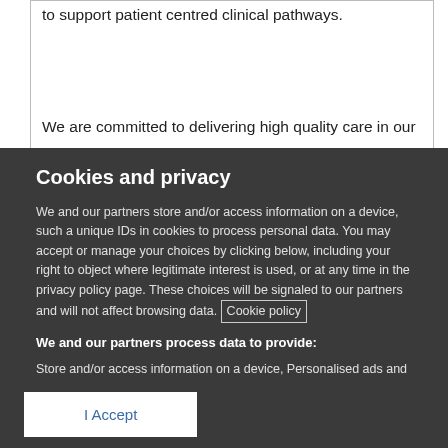to support patient centred clinical pathways.
We are committed to delivering high quality care in our
Cookies and privacy
We and our partners store and/or access information on a device, such a unique IDs in cookies to process personal data. You may accept or manage your choices by clicking below, including your right to object where legitimate interest is used, or at any time in the privacy policy page. These choices will be signaled to our partners and will not affect browsing data. Cookie policy
We and our partners process data to provide:
Store and/or access information on a device, Personalised ads and content, ad and content measurement, audience insights and product development, Use precise geolocation data, Actively scan device characteristics for identification
List of Partners (vendors)
I Accept